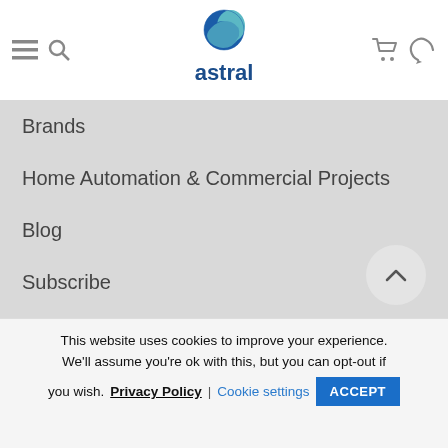[Figure (logo): Astral company logo — circular blue and teal globe icon above the word 'astral' in dark blue bold lowercase text]
Brands
Home Automation & Commercial Projects
Blog
Subscribe
Contact Details
This website uses cookies to improve your experience. We'll assume you're ok with this, but you can opt-out if you wish. Privacy Policy | Cookie settings ACCEPT